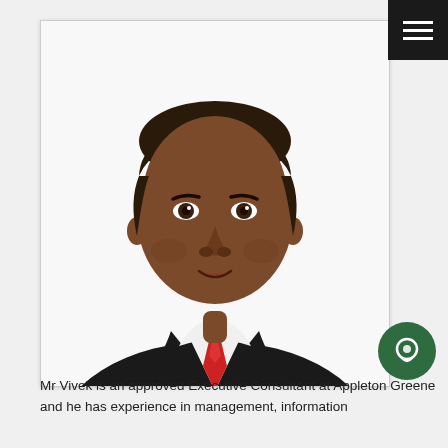[Figure (photo): Headshot portrait of Mr Vivek, a man in a dark suit with a red tie and white shirt, against a white background. He is smiling slightly and looking directly at the camera.]
Mr Vivek is an approved Executive Consultant at Appleton Greene and he has experience in management, information